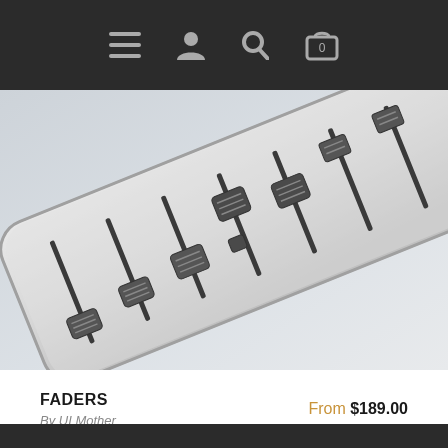Navigation bar with menu, user, search, and cart icons
[Figure (photo): A white rectangular audio mixer fader controller with multiple linear sliders/faders, photographed at an angle on a light grey background. The device has 8 vertical fader channels with dark knobs positioned at different heights.]
FADERS
By UI Mother
From $189.00